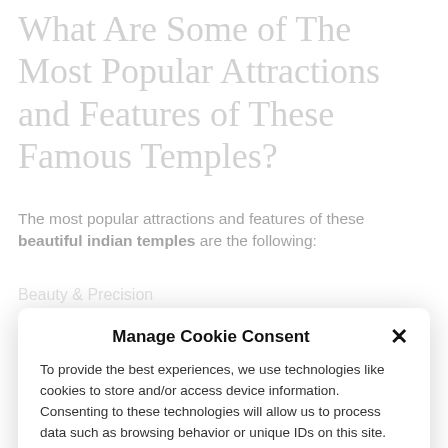What Are Some of The Most Popular Attractions and Features of These Famous Temples?
The most popular attractions and features of these beautiful indian temples are the following:
Beauty & Precision
[Figure (screenshot): Cookie consent modal dialog with title 'Manage Cookie Consent', body text about cookies and technologies, an Accept button, and a Cookie Policy link]
Manage Cookie Consent
To provide the best experiences, we use technologies like cookies to store and/or access device information. Consenting to these technologies will allow us to process data such as browsing behavior or unique IDs on this site. Not consenting or withdrawing consent, may adversely affect certain features and functions.
Accept
Cookie Policy